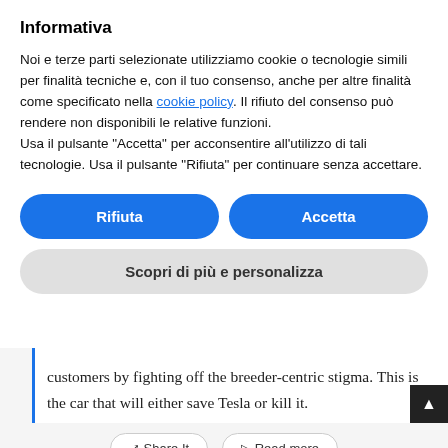Informativa
Noi e terze parti selezionate utilizziamo cookie o tecnologie simili per finalità tecniche e, con il tuo consenso, anche per altre finalità come specificato nella cookie policy. Il rifiuto del consenso può rendere non disponibili le relative funzioni.
Usa il pulsante “Accetta” per acconsentire all’utilizzo di tali tecnologie. Usa il pulsante “Rifiuta” per continuare senza accettare.
Rifiuta
Accetta
Scopri di più e personalizza
customers by fighting off the breeder-centric stigma. This is the car that will either save Tesla or kill it.
Share It
Read more